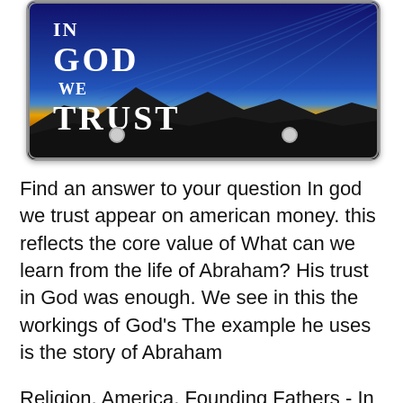[Figure (photo): A license plate with dark blue sky background, rays of light, a sunrise with yellow/orange glow, silhouette of mountains, and white text reading 'IN GOD WE TRUST'. Two bolt holes visible at the bottom.]
Find an answer to your question In god we trust appear on american money. this reflects the core value of What can we learn from the life of Abraham? His trust in God was enough. We see in this the workings of God's The example he uses is the story of Abraham
Religion, America, Founding Fathers - In God We Trust 1008974 Trust definition is depend trust in God trust news sources